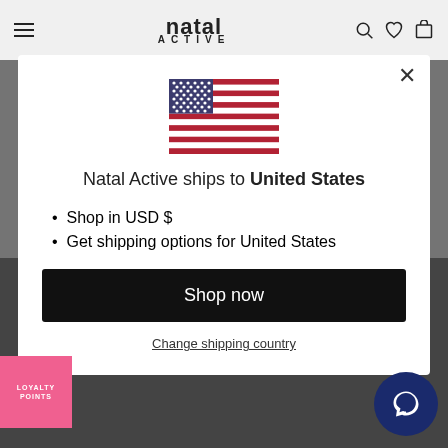natal ACTIVE
[Figure (illustration): US flag emoji/graphic centered in modal]
Natal Active ships to United States
Shop in USD $
Get shipping options for United States
Shop now
Change shipping country
LOYALTY POINTS